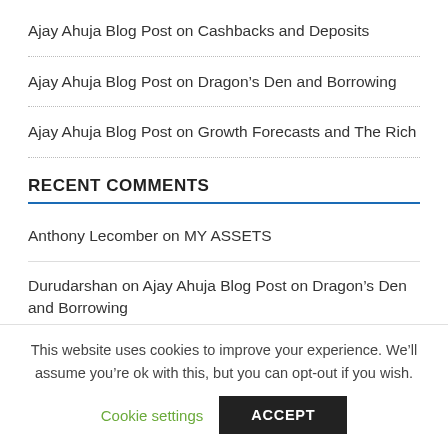Ajay Ahuja Blog Post on Cashbacks and Deposits
Ajay Ahuja Blog Post on Dragon’s Den and Borrowing
Ajay Ahuja Blog Post on Growth Forecasts and The Rich
RECENT COMMENTS
Anthony Lecomber on MY ASSETS
Durudarshan on Ajay Ahuja Blog Post on Dragon’s Den and Borrowing
Jonny Gulable on Save time, money and sanity
Zane Oliver on Ajay Ahuja Latest Blog Post on Getting Rich Quick
This website uses cookies to improve your experience. We’ll assume you’re ok with this, but you can opt-out if you wish.